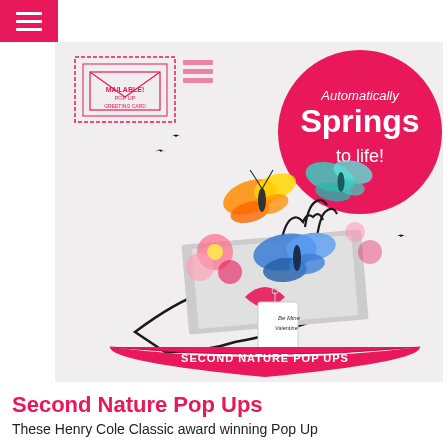[hamburger menu icon]
[Figure (illustration): Product illustration showing a pop-up greeting card held in a hand, with colorful butterflies and flowers springing up from an open envelope. A pink circular badge reads 'Automatically Springs to life!' and a pink banner at the bottom reads 'SECOND NATURE POP UPS'. A stamp in the top left reads 'MAILABLE! POP UP GREETING CARD'.]
Second Nature Pop Ups
These Henry Cole Classic award winning Pop Up